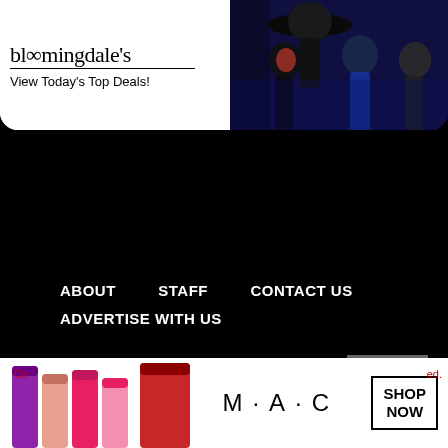[Figure (screenshot): Bloomingdales advertisement banner with logo, 'View Today's Top Deals!' tagline, 'SHOP NOW >' button, and fashion photo of people in dark clothing]
[Figure (screenshot): 22 Words advertisement: '37 BEAUTY PRODUCTS WITH SUCH GOOD REVIEWS YOU MIGHT WANT TO TRY THEM YOURSELF' with teal circle logo and product image on right]
ABOUT
STAFF
CONTACT US
ADVERTISE WITH US
[Figure (screenshot): MAC Cosmetics advertisement with colorful lipsticks, MAC logo, and 'SHOP NOW' button. CLOSE button above. Partial copyright text visible at bottom.]